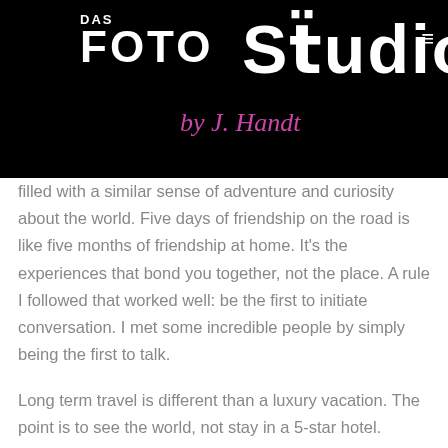[Figure (logo): Das Foto Studio by J. Handt logo on black background with hamburger menu icon]
filled with a similar sense of adventure and curiosity about the world. Five days of friendship on the road is like five months of friendship at home. It's the experiences that bond you together, not the place. A rule I followed that worked well: be the first to initiate conversation. I met some incredible people by simply being the first to talk.
Long term travel is different than a luxury vacation. The point is to see the world, not stay in a 5-star hotel. During the trip, I stayed on a strict budget. The goal was to spend no more than $33 per day on accommodations. After a year, I was able to spend only $26.15 per day by booking through HostelWorld and Airbnb. When I went to two year...